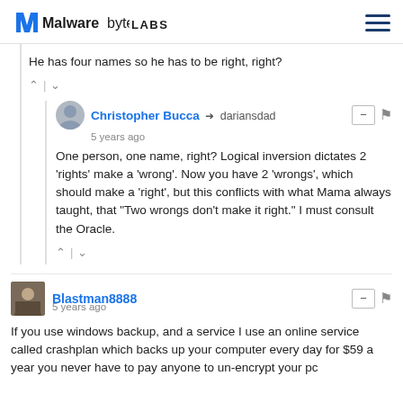Malwarebytes LABS
He has four names so he has to be right, right?
Christopher Bucca → dariansdad
5 years ago
One person, one name, right? Logical inversion dictates 2 'rights' make a 'wrong'. Now you have 2 'wrongs', which should make a 'right', but this conflicts with what Mama always taught, that "Two wrongs don't make it right." I must consult the Oracle.
Blastman8888
5 years ago
If you use windows backup, and a service I use an online service called crashplan which backs up your computer every day for $59 a year you never have to pay anyone to un-encrypt your pc